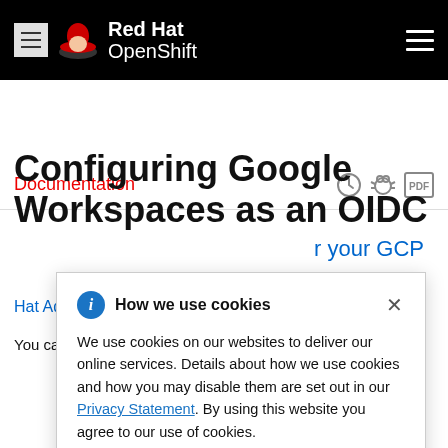Red Hat OpenShift
Documentation
Configuring Google Workspaces as an OIDC
r your GCP
ler in Red Hat Advanced Cluster Security for Kubernetes
You can use Google Workspace as a single sign-on
[Figure (other): Cookie consent modal dialog with title 'How we use cookies', information icon, close button, and body text explaining cookie usage with a Privacy Statement link.]